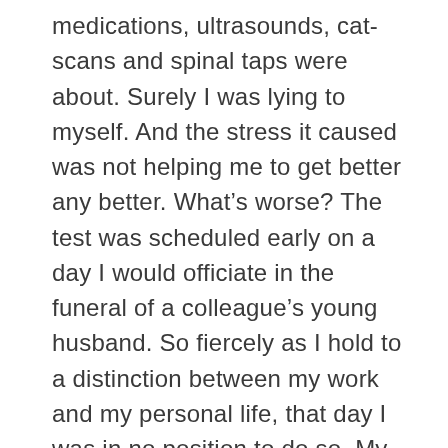medications, ultrasounds, cat-scans and spinal taps were about. Surely I was lying to myself. And the stress it caused was not helping me to get better any better. What's worse? The test was scheduled early on a day I would officiate in the funeral of a colleague's young husband. So fiercely as I hold to a distinction between my work and my personal life, that day I was in no position to do so. My wife Joanie sat with me the night before the test and taught me to visualize and meditate during the exam. She held back what I'm sure were her own fears about what the test might reveal. And her confidence got me through the